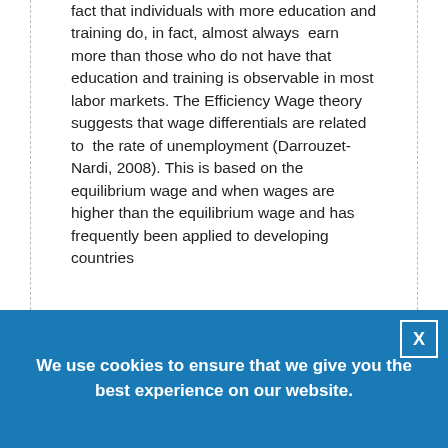fact that individuals with more education and training do, in fact, almost always earn more than those who do not have that education and training is observable in most labor markets. The Efficiency Wage theory suggests that wage differentials are related to the rate of unemployment (Darrouzet-Nardi, 2008). This is based on the equilibrium wage and when wages are higher than the equilibrium wage and has frequently been applied to developing countries
We use cookies to ensure that we give you the best experience on our website.